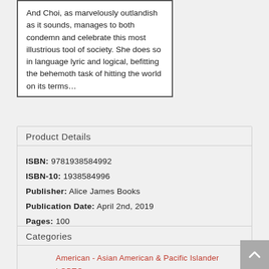And Choi, as marvelously outlandish as it sounds, manages to both condemn and celebrate this most illustrious tool of society. She does so in language lyric and logical, befitting the behemoth task of hitting the world on its terms…
Product Details
ISBN: 9781938584992
ISBN-10: 1938584996
Publisher: Alice James Books
Publication Date: April 2nd, 2019
Pages: 100
Language: English
Categories
American - Asian American & Pacific Islander
LGBTQ+
Women Authors